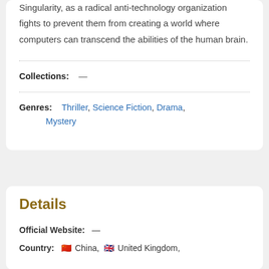Singularity, as a radical anti-technology organization fights to prevent them from creating a world where computers can transcend the abilities of the human brain.
Collections: —
Genres: Thriller, Science Fiction, Drama, Mystery
Details
Official Website: —
Country: 🇨🇳 China, 🇬🇧 United Kingdom,